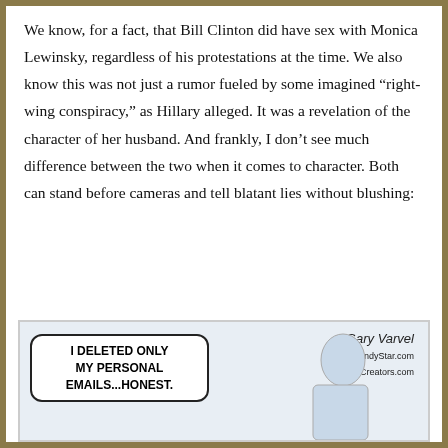We know, for a fact, that Bill Clinton did have sex with Monica Lewinsky, regardless of his protestations at the time. We also know this was not just a rumor fueled by some imagined “right-wing conspiracy,” as Hillary alleged. It was a revelation of the character of her husband. And frankly, I don’t see much difference between the two when it comes to character. Both can stand before cameras and tell blatant lies without blushing:
[Figure (illustration): Political cartoon showing a speech bubble with the text 'I DELETED ONLY MY PERSONAL EMAILS...HONEST.' and a partial figure silhouette on the right. Signed by cartoonist in the upper right corner with a copyright notice.]